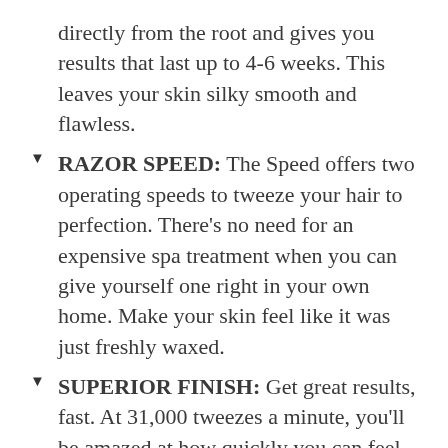directly from the root and gives you results that last up to 4-6 weeks. This leaves your skin silky smooth and flawless.
RAZOR SPEED: The Speed offers two operating speeds to tweeze your hair to perfection. There’s no need for an expensive spa treatment when you can give yourself one right in your own home. Make your skin feel like it was just freshly waxed.
SUPERIOR FINISH: Get great results, fast. At 31,000 tweezes a minute, you’ll be amazed at how quickly you can feel clean and refreshed. The wide epilating head ensures fast and smooth action. Let the Speed be your shaver replacement.
WOMEN’S BEST FRIEND: The Speed works on